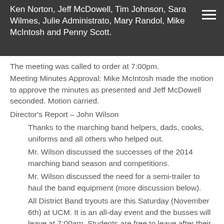Ken Norton, Jeff McDowell, Tim Johnson, Sara Wilmes, Julie Administrato, Mary Randol, Mike McIntosh and Penny Scott.
The meeting was called to order at 7:00pm.
Meeting Minutes Approval: Mike McIntosh made the motion to approve the minutes as presented and Jeff McDowell seconded. Motion carried.
Director's Report – John Wilson
Thanks to the marching band helpers, dads, cooks, uniforms and all others who helped out.
Mr. Wilson discussed the successes of the 2014 marching band season and competitions.
Mr. Wilson discussed the need for a semi-trailer to haul the band equipment (more discussion below).
All District Band tryouts are this Saturday (November 6th) at UCM. It is an all-day event and the busses will leave at 7:00am. Students are free to leave after their audition. All District Band tryouts are required for